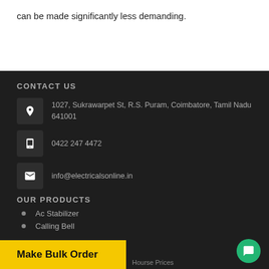can be made significantly less demanding.
CONTACT US
1027, Sukrawarpet St, R.S. Puram, Coimbatore, Tamil Nadu 641001
0422 247 4472
info@electricalsonline.in
OUR PRODUCTS
Ac Stabilizer
Calling Bell
Make Bulk Order